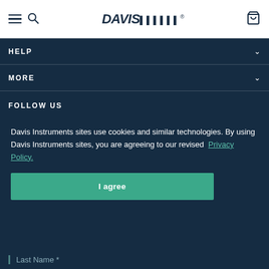Davis Instruments navigation header with hamburger menu, search icon, logo, and cart icon
HELP
MORE
FOLLOW US
Davis Instruments sites use cookies and similar technologies. By using Davis Instruments sites, you are agreeing to our revised Privacy Policy.
I agree
Last Name *